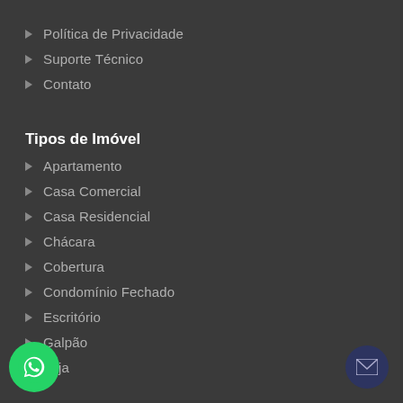Política de Privacidade
Suporte Técnico
Contato
Tipos de Imóvel
Apartamento
Casa Comercial
Casa Residencial
Chácara
Cobertura
Condomínio Fechado
Escritório
Galpão
Loja